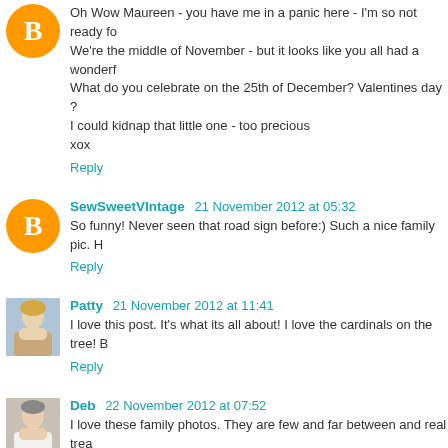Oh Wow Maureen - you have me in a panic here - I'm so not ready fo... We're the middle of November - but it looks like you all had a wonderf... What do you celebrate on the 25th of December? Valentines day ? I could kidnap that little one - too precious xox
Reply
SewSweetVIntage  21 November 2012 at 05:32
So funny! Never seen that road sign before:) Such a nice family pic. H...
Reply
Patty  21 November 2012 at 11:41
I love this post. It's what its all about! I love the cardinals on the tree! B...
Reply
Deb  22 November 2012 at 07:52
I love these family photos. They are few and far between and real trea...
Reply